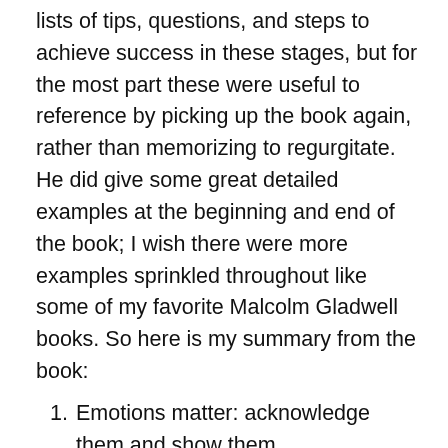lists of tips, questions, and steps to achieve success in these stages, but for the most part these were useful to reference by picking up the book again, rather than memorizing to regurgitate. He did give some great detailed examples at the beginning and end of the book; I wish there were more examples sprinkled throughout like some of my favorite Malcolm Gladwell books. So here is my summary from the book:
1. Emotions matter: acknowledge them and show them
Especially during change, you can feel fear, anger, surprise, guilt, loneliness, or any number of emotional responses. During change you need to encourage people to feel what they feel and not suppress their reactions. Talk about it. Listen and sympathize. And share back. Change is hard and if